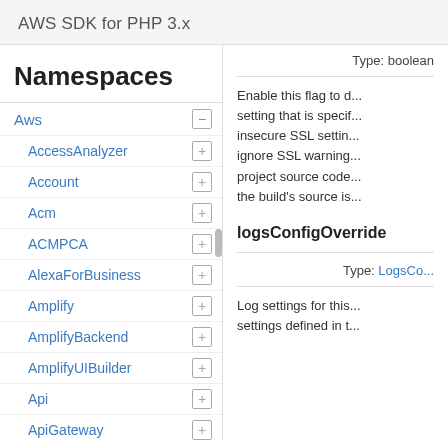AWS SDK for PHP 3.x
Namespaces
Aws
AccessAnalyzer
Account
Acm
ACMPCA
AlexaForBusiness
Amplify
AmplifyBackend
AmplifyUIBuilder
Api
ApiGateway
ApiGatewayManagementApi
Type: boolean
Enable this flag to d... setting that is speci... insecure SSL setti... ignore SSL warning... project source code... the build's source is...
logsConfigOverride
Type: LogsCo...
Log settings for this... settings defined in t...